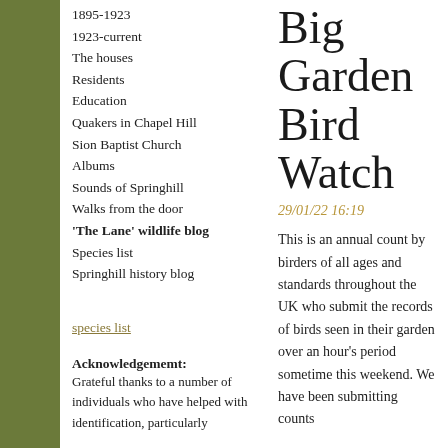1895-1923
1923-current
The houses
Residents
Education
Quakers in Chapel Hill
Sion Baptist Church
Albums
Sounds of Springhill
Walks from the door
'The Lane' wildlife blog
Species list
Springhill history blog
species list
Acknowledgememt: Grateful thanks to a number of individuals who have helped with identification, particularly
Big Garden Bird Watch
29/01/22 16:19
This is an annual count by birders of all ages and standards throughout the UK who submit the records of birds seen in their garden over an hour's period sometime this weekend. We have been submitting counts